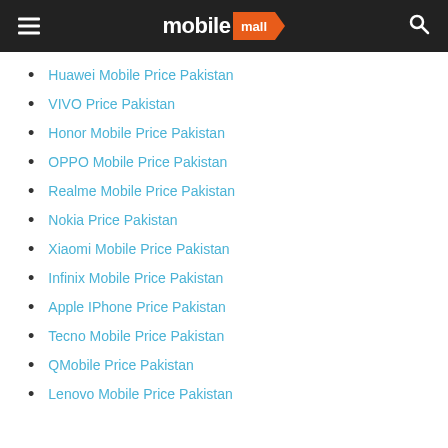mobile mall
Huawei Mobile Price Pakistan
VIVO Price Pakistan
Honor Mobile Price Pakistan
OPPO Mobile Price Pakistan
Realme Mobile Price Pakistan
Nokia Price Pakistan
Xiaomi Mobile Price Pakistan
Infinix Mobile Price Pakistan
Apple IPhone Price Pakistan
Tecno Mobile Price Pakistan
QMobile Price Pakistan
Lenovo Mobile Price Pakistan